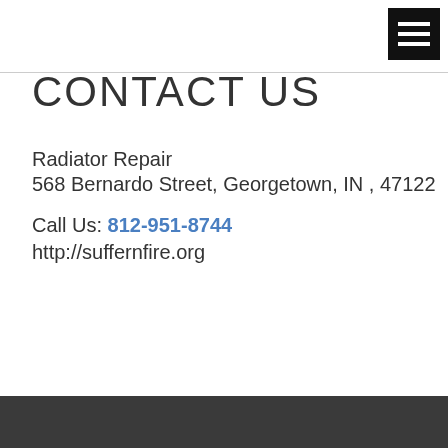CONTACT US
[Figure (other): Hamburger menu icon — three white horizontal lines on black square background]
CONTACT US
Radiator Repair
568 Bernardo Street, Georgetown, IN , 47122
Call Us: 812-951-8744
http://suffernfire.org